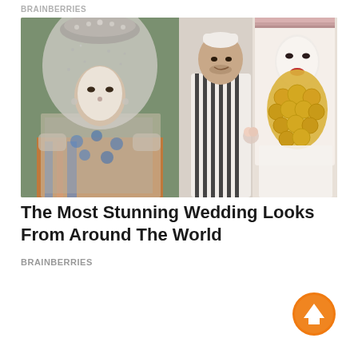BRAINBERRIES
[Figure (photo): Two side-by-side photos of traditional wedding attire from around the world. Left photo: a woman wearing an ornate silver beaded veil and decorated mesh outfit with face dotted in white. Right photo: a man in black-and-white striped traditional garment standing beside a bride in white veil adorned with large gold coins.]
The Most Stunning Wedding Looks From Around The World
BRAINBERRIES
[Figure (illustration): Orange circular scroll-to-top button with white upward arrow icon]